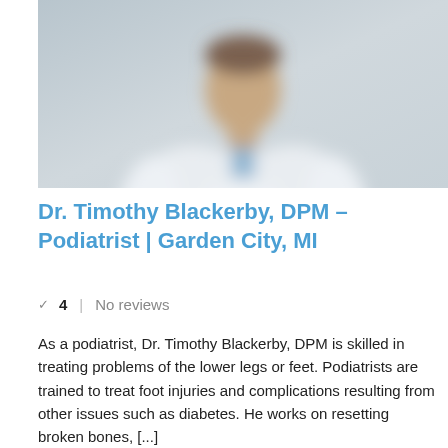[Figure (photo): Blurred photo of a male doctor in a white coat against a light gray background]
Dr. Timothy Blackerby, DPM – Podiatrist | Garden City, MI
4   No reviews
As a podiatrist, Dr. Timothy Blackerby, DPM is skilled in treating problems of the lower legs or feet. Podiatrists are trained to treat foot injuries and complications resulting from other issues such as diabetes. He works on resetting broken bones, [...]